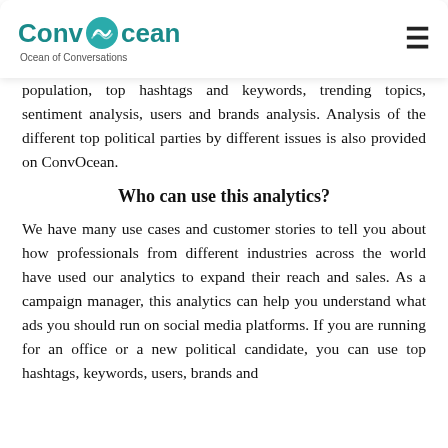ConvOcean — Ocean of Conversations
population, top hashtags and keywords, trending topics, sentiment analysis, users and brands analysis. Analysis of the different top political parties by different issues is also provided on ConvOcean.
Who can use this analytics?
We have many use cases and customer stories to tell you about how professionals from different industries across the world have used our analytics to expand their reach and sales. As a campaign manager, this analytics can help you understand what ads you should run on social media platforms. If you are running for an office or a new political candidate, you can use top hashtags, keywords, users, brands and